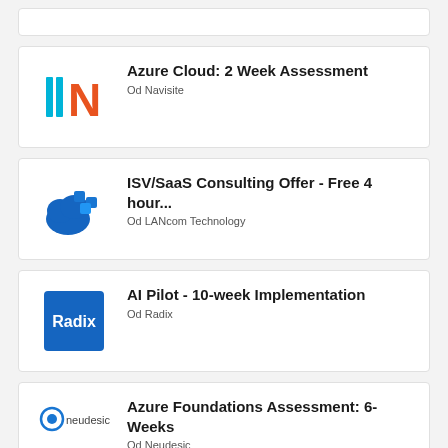[Figure (other): Partial card visible at top of page (cropped)]
Azure Cloud: 2 Week Assessment
Od Navisite
[Figure (logo): Navisite logo: orange N with teal vertical bars]
ISV/SaaS Consulting Offer - Free 4 hour...
Od LANcom Technology
[Figure (logo): LANcom Technology logo: blue cloud with blue cubes]
AI Pilot - 10-week Implementation
Od Radix
[Figure (logo): Radix logo: blue square with white Radix text]
Azure Foundations Assessment: 6-Weeks
Od Neudesic
[Figure (logo): Neudesic logo: circular icon with neudesic text]